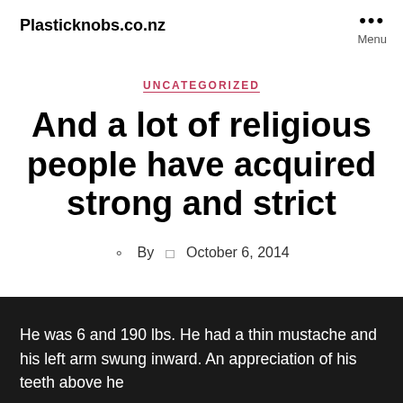Plasticknobs.co.nz
UNCATEGORIZED
And a lot of religious people have acquired strong and strict
By  October 6, 2014
He was 6 and 190 lbs. He had a thin mustache and his left...